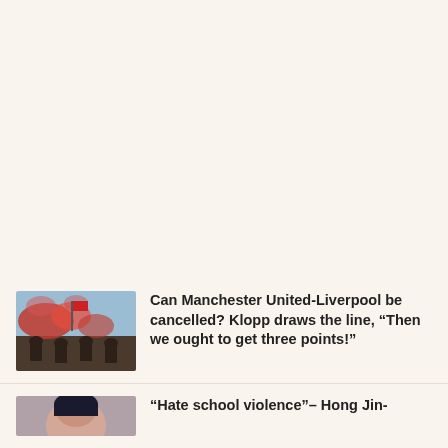[Figure (photo): Fans with red flares and flags at a football match]
Can Manchester United-Liverpool be cancelled? Klopp draws the line, “Then we ought to get three points!”
[Figure (photo): Portrait photo, partially visible at bottom edge]
“Hate school violence”– Hong Jin-